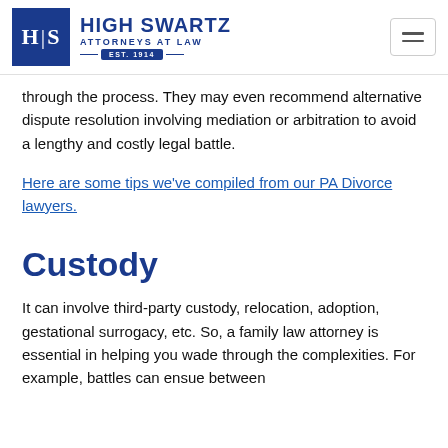[Figure (logo): High Swartz Attorneys at Law logo with H|S in blue box, firm name and EST. 1914]
through the process. They may even recommend alternative dispute resolution involving mediation or arbitration to avoid a lengthy and costly legal battle.
Here are some tips we've compiled from our PA Divorce lawyers.
Custody
It can involve third-party custody, relocation, adoption, gestational surrogacy, etc. So, a family law attorney is essential in helping you wade through the complexities. For example, battles can ensue between